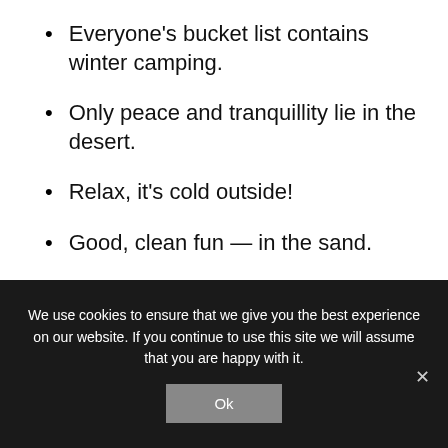Everyone's bucket list contains winter camping.
Only peace and tranquillity lie in the desert.
Relax, it's cold outside!
Good, clean fun — in the sand.
The desert tells a different story every time
We use cookies to ensure that we give you the best experience on our website. If you continue to use this site we will assume that you are happy with it.